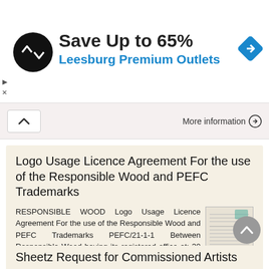[Figure (infographic): Advertisement banner: black circular logo with arrow symbol, 'Save Up to 65%' in bold black text, 'Leesburg Premium Outlets' in blue text, blue diamond navigation arrow icon on right]
More information →
Logo Usage Licence Agreement For the use of the Responsible Wood and PEFC Trademarks
RESPONSIBLE WOOD Logo Usage Licence Agreement For the use of the Responsible Wood and PEFC Trademarks PEFC/21-1-1 Between Responsible Wood having its registered office at: 30 Boothby Street, Kedron, QLD
More information →
Sheetz Request for Commissioned Artists